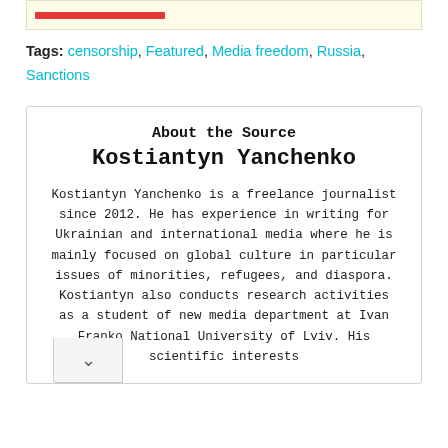Tags: censorship, Featured, Media freedom, Russia, Sanctions
About the Source
Kostiantyn Yanchenko
Kostiantyn Yanchenko is a freelance journalist since 2012. He has experience in writing for Ukrainian and international media where he is mainly focused on global culture in particular issues of minorities, refugees, and diaspora. Kostiantyn also conducts research activities as a student of new media department at Ivan Franko National University of Lviv. His scientific interests